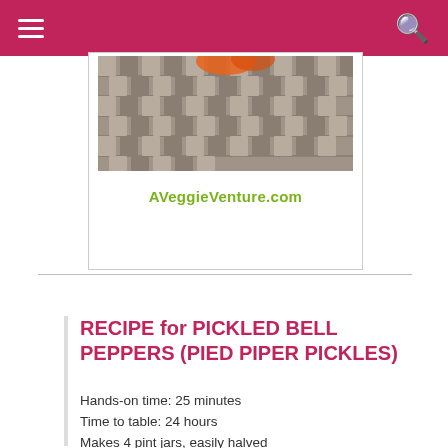[Figure (photo): Photo of a wicker basket with vegetables, shown partially at the top of the page]
AVeggieVenture.com
RECIPE for PICKLED BELL PEPPERS (PIED PIPER PICKLES)
Hands-on time: 25 minutes
Time to table: 24 hours
Makes 4 pint jars, easily halved
PEPPERS